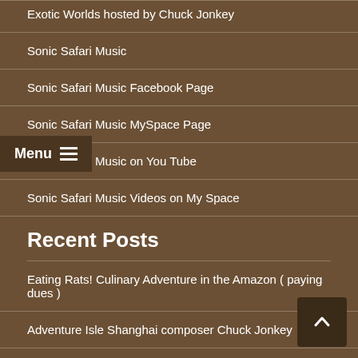Exotic Worlds hosted by Chuck Jonkey
Sonic Safari Music
Sonic Safari Music Facebook Page
Sonic Safari Music MySpace Page
Sonic Safari Music on You Tube
Sonic Safari Music Videos on My Space
Recent Posts
Eating Rats! Culinary Adventure in the Amazon ( paying dues )
Adventure Isle Shanghai composer Chuck Jonkey
Adventure Isle: Disneyland, Shaghai, China